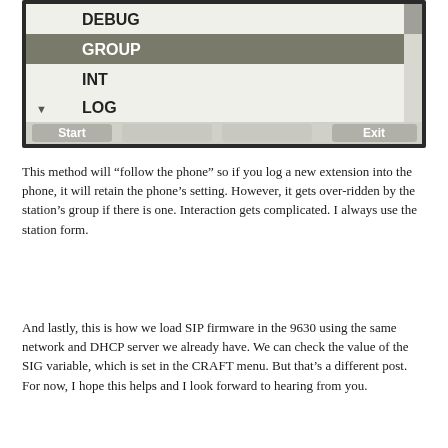[Figure (screenshot): Screenshot of a phone or device menu showing list items: DEBUG, GROUP (highlighted/selected in dark background), INT, LOG (with a small arrow indicator), and at the bottom a row of buttons: Start, and Exit.]
This method will “follow the phone” so if you log a new extension into the phone, it will retain the phone’s setting. However, it gets over-ridden by the station’s group if there is one. Interaction gets complicated. I always use the station form.
And lastly, this is how we load SIP firmware in the 9630 using the same network and DHCP server we already have. We can check the value of the SIG variable, which is set in the CRAFT menu. But that’s a different post. For now, I hope this helps and I look forward to hearing from you.